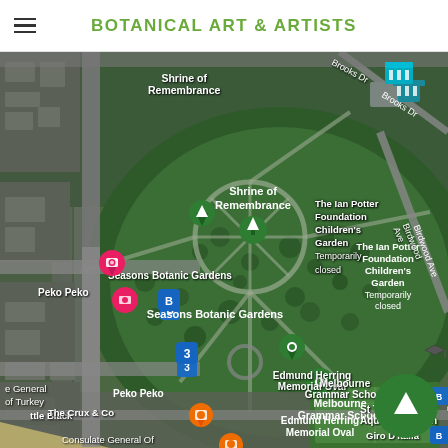BOTANICAL ART & ARTISTS
[Figure (map): Google Maps satellite view of Melbourne Botanic Gardens area showing: Shrine of Remembrance, Seasons Botanic Gardens (pink marker), The Ian Potter Foundation Children's Garden (Temporarily closed), Peko Peko, Edmund Herring Memorial Oval (green marker), Melbourne Grammar School, The Crux & Co, St Thomas Aquinas Church, Giro D'Italia, Consulate General Of (partial). Roads include Brooks Dr and Birdwood Ave. A green circular navigation button is visible in the lower right.]